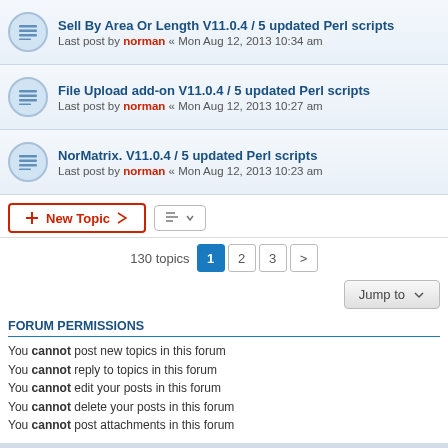Sell By Area Or Length V11.0.4 / 5 updated Perl scripts — Last post by norman « Mon Aug 12, 2013 10:34 am
File Upload add-on V11.0.4 / 5 updated Perl scripts — Last post by norman « Mon Aug 12, 2013 10:27 am
NorMatrix. V11.0.4 / 5 updated Perl scripts — Last post by norman « Mon Aug 12, 2013 10:23 am
130 topics  1  2  3  >
Jump to
FORUM PERMISSIONS
You cannot post new topics in this forum
You cannot reply to topics in this forum
You cannot edit your posts in this forum
You cannot delete your posts in this forum
You cannot post attachments in this forum
Board index   Delete cookies   All times are UTC+01:00
Powered by phpBB® Forum Software © phpBB Limited
Privacy | Terms